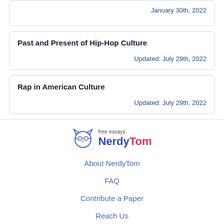January 30th, 2022
Past and Present of Hip-Hop Culture
Updated: July 29th, 2022
Rap in American Culture
Updated: July 29th, 2022
[Figure (logo): NerdyTom free essays logo with cat icon]
About NerdyTom
FAQ
Contribute a Paper
Reach Us
Paper Withdrawal